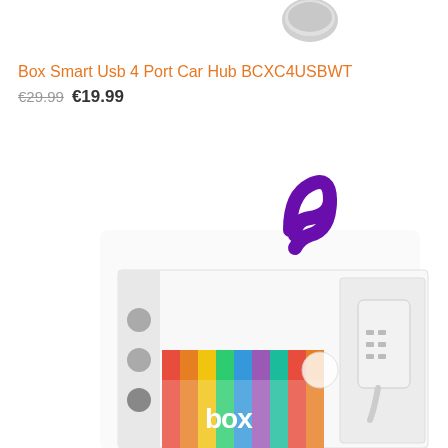[Figure (photo): Product image showing a white USB hub device partially visible at the top, and a product box for 'Box Smart Usb 4 Port Car Hub BCXC4USBWT' with colorful stripes and a purple hanging loop, showing the device inside the open box. The box reads 'box' logo with 'Power Pass | USB C USB 3 Port Hub'.]
Box Smart Usb 4 Port Car Hub BCXC4USBWT
€29.99 €19.99